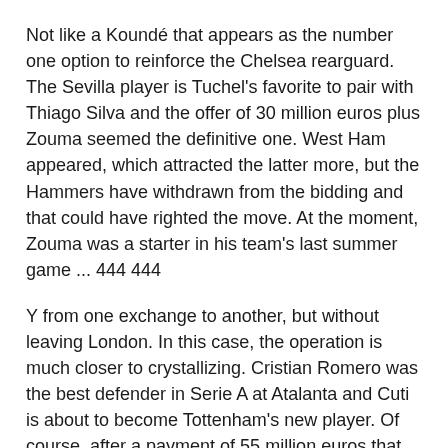Not like a Koundé that appears as the number one option to reinforce the Chelsea rearguard. The Sevilla player is Tuchel's favorite to pair with Thiago Silva and the offer of 30 million euros plus Zouma seemed the definitive one. West Ham appeared, which attracted the latter more, but the Hammers have withdrawn from the bidding and that could have righted the move. At the moment, Zouma was a starter in his team's last summer game ... 444 444
Y from one exchange to another, but without leaving London. In this case, the operation is much closer to crystallizing. Cristian Romero was the best defender in Serie A at Atalanta and Cuti is about to become Tottenham's new player. Of course, after a payment of 55 million euros that will make him one of the most expensive defenders in history. In the Copa América he showed that, at 23 years old, he can be the solution to the defensive problems of Nuno's Spurs.
United have not said their last word